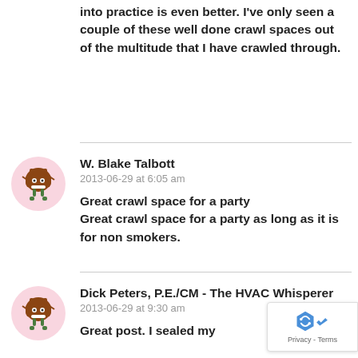into practice is even better. I've only seen a couple of these well done crawl spaces out of the multitude that I have crawled through.
W. Blake Talbott
2013-06-29 at 6:05 am

Great crawl space for a party
Great crawl space for a party as long as it is for non smokers.
Dick Peters, P.E./CM - The HVAC Whisperer
2013-06-29 at 9:30 am

Great post. I sealed my